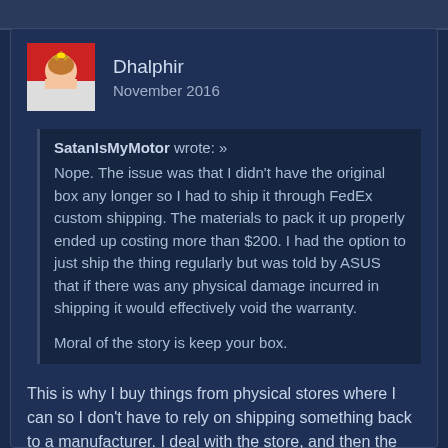Dhalphir
November 2016
SatanIsMyMotor wrote: »
Nope. The issue was that I didn't have the original box any longer so I had to ship it through FedEx custom shipping. The materials to pack it up properly ended up costing more than $200. I had the option to just ship the thing regularly but was told by ASUS that if there was any physical damage incurred in shipping it would effectively void the warranty.

Moral of the story is keep your box.
This is why I buy things from physical stores where I can so I don't have to rely on shipping something back to a manufacturer. I deal with the store, and then the store deals with the manufacturer.